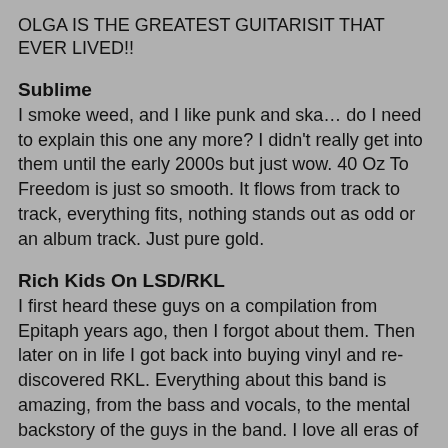OLGA IS THE GREATEST GUITARISIT THAT EVER LIVED!!
Sublime
I smoke weed, and I like punk and ska… do I need to explain this one any more? I didn't really get into them until the early 2000s but just wow. 40 Oz To Freedom is just so smooth. It flows from track to track, everything fits, nothing stands out as odd or an album track. Just pure gold.
Rich Kids On LSD/RKL
I first heard these guys on a compilation from Epitaph years ago, then I forgot about them. Then later on in life I got back into buying vinyl and re-discovered RKL. Everything about this band is amazing, from the bass and vocals, to the mental backstory of the guys in the band. I love all eras of RKL, from the early Mystic stuff to the later Epitaph albums, they just inspire me to want to sound better musically. I've still yet to hear better vocals on a record than Jason Sears.
Dead Kennedys
I used to love looking through the album artwork for a DK